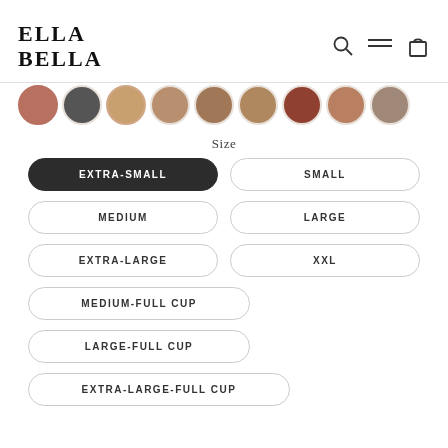ELLA BELLA
[Figure (photo): Row of circular thumbnail images of lingerie models, partially visible at top]
Size
EXTRA-SMALL (selected, dark/filled button)
SMALL
MEDIUM
LARGE
EXTRA-LARGE
XXL
MEDIUM-FULL CUP
LARGE-FULL CUP
EXTRA-LARGE-FULL CUP